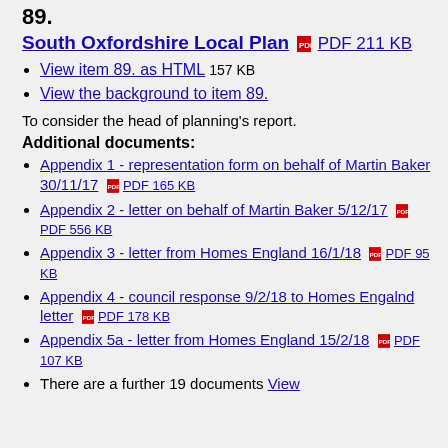89.
South Oxfordshire Local Plan  PDF 211 KB
View item 89. as HTML 157 KB
View the background to item 89.
To consider the head of planning's report.
Additional documents:
Appendix 1 - representation form on behalf of Martin Baker 30/11/17  PDF 165 KB
Appendix 2 - letter on behalf of Martin Baker 5/12/17  PDF 556 KB
Appendix 3 - letter from Homes England 16/1/18  PDF 95 KB
Appendix 4 - council response 9/2/18 to Homes Engalnd letter  PDF 178 KB
Appendix 5a - letter from Homes England 15/2/18  PDF 107 KB
There are a further 19 documents View